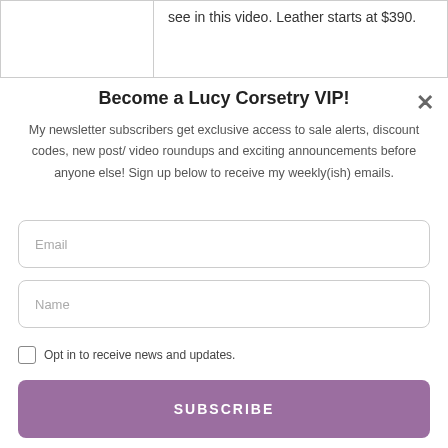|  | see in this video. Leather starts at $390. |
Become a Lucy Corsetry VIP!
My newsletter subscribers get exclusive access to sale alerts, discount codes, new post/ video roundups and exciting announcements before anyone else! Sign up below to receive my weekly(ish) emails.
Email
Name
Opt in to receive news and updates.
SUBSCRIBE